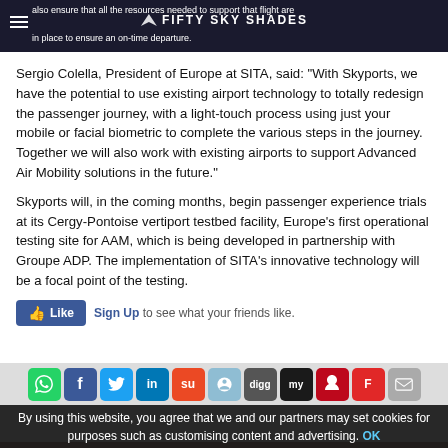also ensure that all the resources needed to support that flight are in place to ensure an on-time departure. | FIFTY SKY SHADES
Sergio Colella, President of Europe at SITA, said: "With Skyports, we have the potential to use existing airport technology to totally redesign the passenger journey, with a light-touch process using just your mobile or facial biometric to complete the various steps in the journey. Together we will also work with existing airports to support Advanced Air Mobility solutions in the future."
Skyports will, in the coming months, begin passenger experience trials at its Cergy-Pontoise vertiport testbed facility, Europe's first operational testing site for AAM, which is being developed in partnership with Groupe ADP. The implementation of SITA's innovative technology will be a focal point of the testing.
👍 Like   Sign Up to see what your friends like.
[Figure (infographic): Social media share icons: WhatsApp, Facebook, Twitter, LinkedIn, StumbleUpon, Reddit, Digg, MySpace, Pinterest, Flipboard, Email]
By using this website, you agree that we and our partners may set cookies for purposes such as customising content and advertising. OK